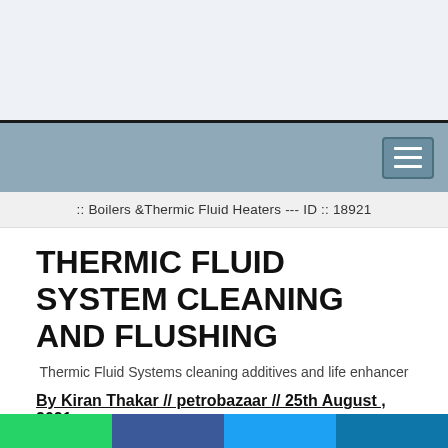[Figure (other): Light blue advertisement banner at top of page]
[Figure (other): Navigation bar with hamburger menu button on right side, steel blue background]
:: Boilers &Thermic Fluid Heaters --- ID :: 18921
THERMIC FLUID SYSTEM CLEANING AND FLUSHING
Thermic Fluid Systems cleaning additives and life enhancer
By Kiran Thakar // petrobazaar // 25th August , 2021.
THERMIC FLUID SYSTEM CLEANING AND FLUSHING
[Figure (other): Social sharing bar at bottom with green, blue, light blue, and dark blue buttons]